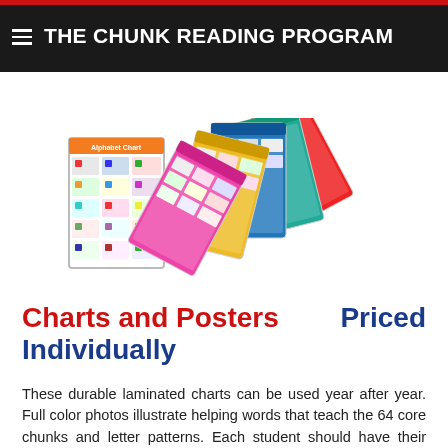THE CHUNK READING PROGRAM
[Figure (photo): Product image showing an Alphabet Chart poster and a fan of colorful laminated chunk/phonics cards]
Charts and Posters Individually     Priced
These durable laminated charts can be used year after year. Full color photos illustrate helping words that teach the 64 core chunks and letter patterns. Each student should have their own